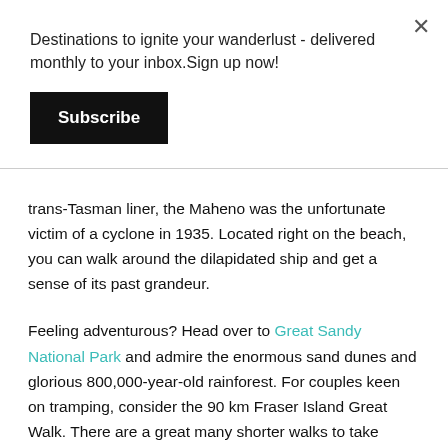Destinations to ignite your wanderlust - delivered monthly to your inbox.Sign up now!
Subscribe
trans-Tasman liner, the Maheno was the unfortunate victim of a cyclone in 1935. Located right on the beach, you can walk around the dilapidated ship and get a sense of its past grandeur.
Feeling adventurous? Head over to Great Sandy National Park and admire the enormous sand dunes and glorious 800,000-year-old rainforest. For couples keen on tramping, consider the 90 km Fraser Island Great Walk. There are a great many shorter walks to take advantage of as well!
You and your loved one can also enjoy an afternoon stroll on the boardwalk along Wanggoolba Creek, with wondrously clear